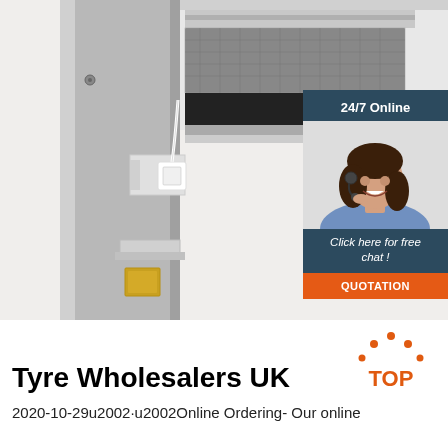[Figure (photo): Close-up photo of industrial door locking mechanism hardware, showing a grey metal door frame/column with brackets and a white plastic/metal lock component, plus metal shelving or tray above. Overlaid with a 24/7 online chat widget showing a smiling female customer service agent wearing a headset, a 'Click here for free chat!' message, and an orange QUOTATION button.]
[Figure (logo): Orange 'TOP' logo with dots arranged in an arc above the word TOP in orange text]
Tyre Wholesalers UK
2020-10-29u2002·u2002Online Ordering- Our online